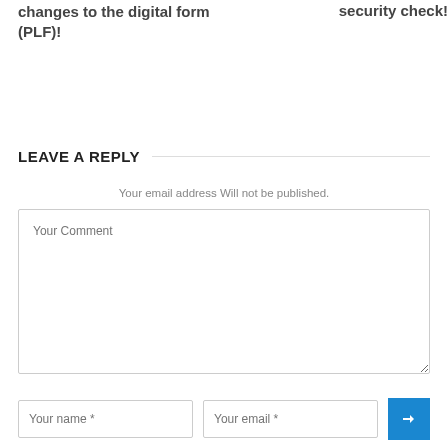changes to the digital form (PLF)!
security check!
LEAVE A REPLY
Your email address Will not be published.
Your Comment
Your name *
Your email *